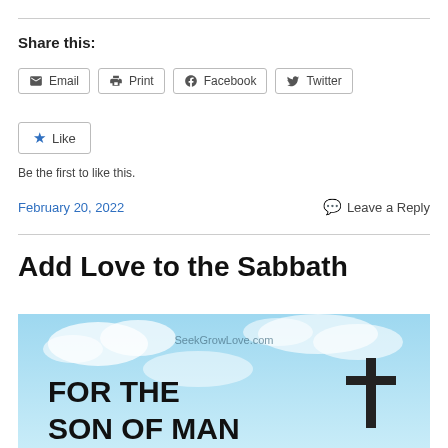Share this:
Email  Print  Facebook  Twitter
Like  Be the first to like this.
February 20, 2022   Leave a Reply
Add Love to the Sabbath
[Figure (photo): Sky with clouds background showing 'SeekGrowLove.com' watermark and text 'FOR THE SON OF MAN' with a cross graphic]